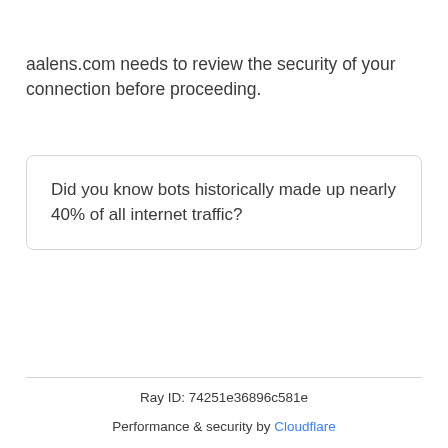aalens.com needs to review the security of your connection before proceeding.
Did you know bots historically made up nearly 40% of all internet traffic?
Ray ID: 74251e36896c581e
Performance & security by Cloudflare